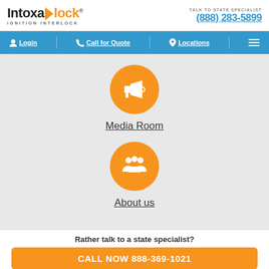[Figure (logo): Intoxalock Ignition Interlock logo with orange arrow/lock icon]
TALK TO STATE SPECIALIST
(888) 283-5899
Login | Call for Quote | Locations | Menu
[Figure (illustration): Orange circle with white megaphone icon]
Media Room
[Figure (illustration): Orange circle with white group of people icon]
About us
Rather talk to a state specialist?
CALL NOW 888-369-1021